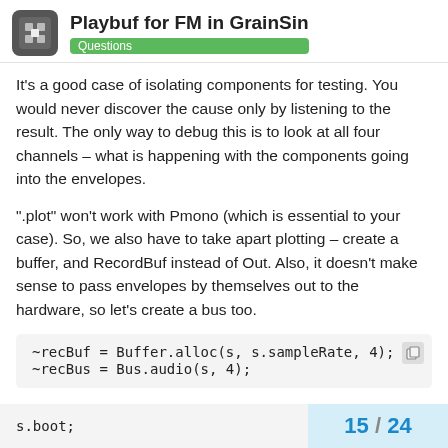Playbuf for FM in GrainSin — Questions
It's a good case of isolating components for testing. You would never discover the cause only by listening to the result. The only way to debug this is to look at all four channels – what is happening with the components going into the envelopes.
".plot" won't work with Pmono (which is essential to your case). So, we also have to take apart plotting – create a buffer, and RecordBuf instead of Out. Also, it doesn't make sense to pass envelopes by themselves out to the hardware, so let's create a bus too.
~recBuf = Buffer.alloc(s, s.sampleRate, 4);
~recBus = Bus.audio(s, 4);
Four channels because, to debug this type of problem, you need to make sure each channel is doing the right thing.
s.boot;
15 / 24